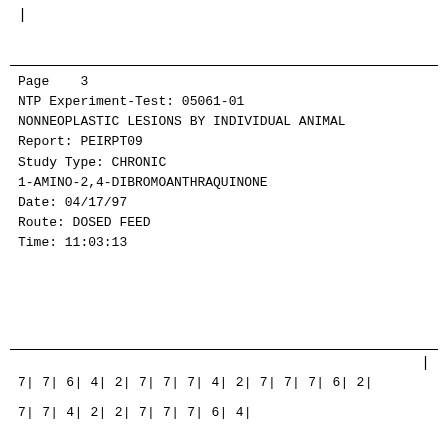|
Page    3
NTP Experiment-Test: 05061-01
NONNEOPLASTIC LESIONS BY INDIVIDUAL ANIMAL
Report: PEIRPT09
Study Type: CHRONIC
1-AMINO-2,4-DIBROMOANTHRAQUINONE
Date: 04/17/97
Route: DOSED FEED
Time: 11:03:13
|
7| 7| 6| 4| 2| 7| 7| 7| 4| 2| 7| 7| 7| 6| 2|
7| 7| 4| 2| 2| 7| 7| 7| 6| 4|